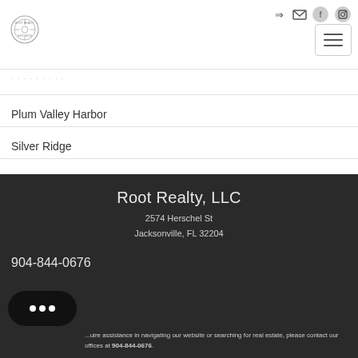[Figure (logo): Root Realty circular logo in top left]
[Figure (other): Navigation icons: login, email, facebook, instagram in top right]
[Figure (other): Hamburger menu button top right]
· · · · · · · · ·
Plum Valley Harbor
Silver Ridge
Root Realty, LLC
2574 Herschel St
Jacksonville, FL 32204
904-844-0676
...quire assistance in navigating our website or searching for real estate, please contact our offices at 904-844-0676.